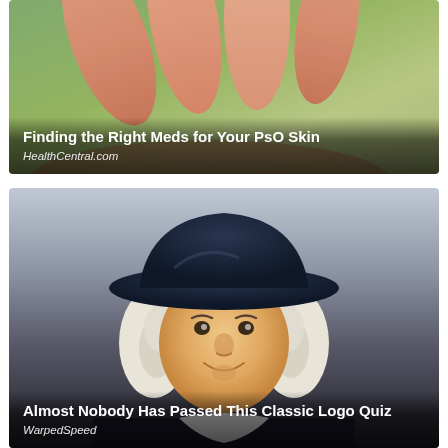[Figure (photo): Close-up photo of a human hand/fingers against a green background, representing skin condition (psoriasis). Article thumbnail for HealthCentral.]
Finding the Right Meds for Your PsO Skin
HealthCentral.com
[Figure (illustration): Illustrated portrait of the Quaker Oats man (smiling colonial-era figure with white hair and dark wide-brimmed hat) on a grey-to-dark background. Article thumbnail for WarpedSpeed logo quiz.]
Almost Nobody Has Passed This Classic Logo Quiz
WarpedSpeed